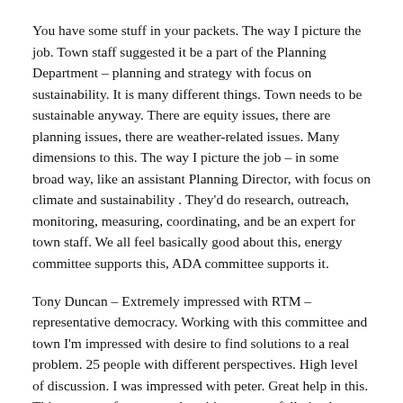You have some stuff in your packets. The way I picture the job. Town staff suggested it be a part of the Planning Department – planning and strategy with focus on sustainability. It is many different things. Town needs to be sustainable anyway. There are equity issues, there are planning issues, there are weather-related issues. Many dimensions to this. The way I picture the job – in some broad way, like an assistant Planning Director, with focus on climate and sustainability . They'd do research, outreach, monitoring, measuring, coordinating, and be an expert for town staff. We all feel basically good about this, energy committee supports this, ADA committee supports it.
Tony Duncan – Extremely impressed with RTM – representative democracy. Working with this committee and town I'm impressed with desire to find solutions to a real problem. 25 people with different perspectives. High level of discussion. I was impressed with peter. Great help in this. This amount of money and position are woefully inadequate